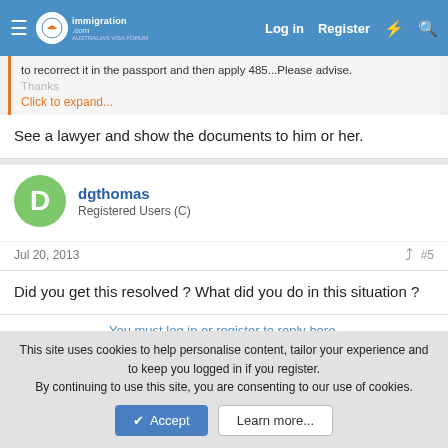immigration.com | Log in | Register
to recorrect it in the passport and then apply 485...Please advise.

Thanks

Click to expand...
See a lawyer and show the documents to him or her.
dgthomas
Registered Users (C)
Jul 20, 2013    #5
Did you get this resolved ? What did you do in this situation ?
You must log in or register to reply here.
This site uses cookies to help personalise content, tailor your experience and to keep you logged in if you register.
By continuing to use this site, you are consenting to our use of cookies.